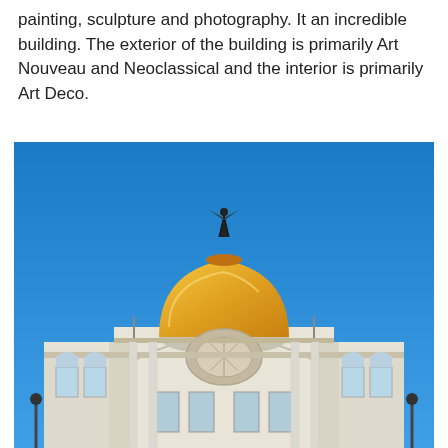painting, sculpture and photography. It an incredible building. The exterior of the building is primarily Art Nouveau and Neoclassical and the interior is primarily Art Deco.
[Figure (photo): Photograph of the Palacio de Bellas Artes in Mexico City, taken from a low angle. The building features an ornate white stone neoclassical and Art Nouveau facade with a prominent golden dome topped by a dark bronze eagle sculpture. The sky is a clear, vivid blue. The lower portion shows the grand arched entrance with decorative columns, windows, and sculptural details. Street lamps are visible at the sides.]